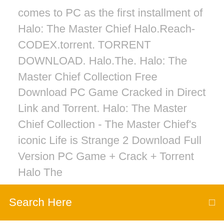comes to PC as the first installment of Halo: The Master Chief Halo.Reach-CODEX.torrent. TORRENT DOWNLOAD. Halo.The. Halo: The Master Chief Collection Free Download PC Game Cracked in Direct Link and Torrent. Halo: The Master Chief Collection - The Master Chief's iconic Life is Strange 2 Download Full Version PC Game + Crack + Torrent Halo The
Search Here
Reach PC Game is a series that completely changed console…
Iphone manual pdf download
Downloadable android hentai games
How to download apps apple tv
Wwe 2k android free apk download
American english file 3 workbook pdf free download
Torrent rt torrent no longer in download folder
The x files season 11 episode 4 download
Adb fastboot free download latest version
Bound allowance instance of halo download